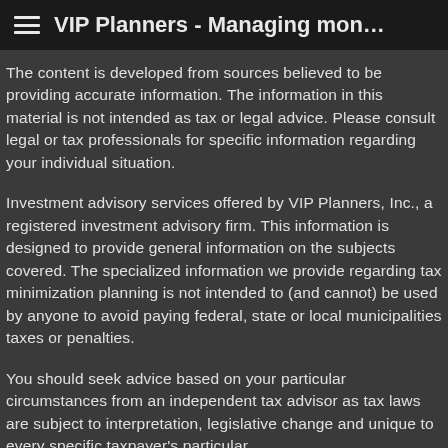VIP Planners - Managing mon…
The content is developed from sources believed to be providing accurate information. The information in this material is not intended as tax or legal advice. Please consult legal or tax professionals for specific information regarding your individual situation.
Investment advisory services offered by VIP Planners, Inc., a registered investment advisory firm. This information is designed to provide general information on the subjects covered. The specialized information we provide regarding tax minimization planning is not intended to (and cannot) be used by anyone to avoid paying federal, state or local municipalities taxes or penalties.
You should seek advice based on your particular circumstances from an independent tax advisor as tax laws are subject to interpretation, legislative change and unique to every specific taxpayer's particular